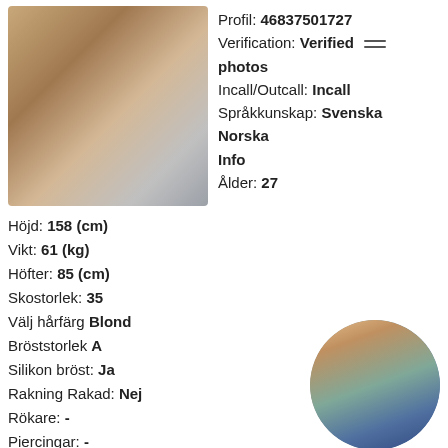[Figure (photo): Main profile photo of a woman in a bathroom setting, wearing white top and shorts]
Profil: 46837501727
Verification: Verified photos
Incall/Outcall: Incall
Språkkunskap: Svenska Norska
Info
Ålder: 27
Höjd: 158 (cm)
Vikt: 61 (kg)
Höfter: 85 (cm)
Skostorlek: 35
Välj hårfärg Blond
Bröststorlek A
Silikon bröst: Ja
Rakning Rakad: Nej
Rökare: -
Piercingar: -
[Figure (photo): Circular thumbnail photo of a woman in blue top and denim shorts, viewed from behind]